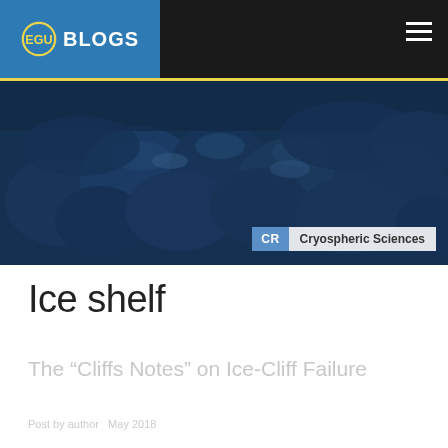EGU BLOGS
[Figure (photo): Dark blue-toned photograph of icy rocky formations, resembling a cryospheric landscape with glacial ice cliffs and rock formations]
CR  Cryospheric Sciences
Ice shelf
The “Cliffs Notes” on Ice-Cliff Failure
Post by author  May 2018